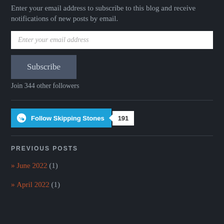Enter your email address to subscribe to this blog and receive notifications of new posts by email.
[Figure (screenshot): Email subscription input field with placeholder text 'Enter your email address']
[Figure (screenshot): Subscribe button (dark gray/slate background)]
Join 344 other followers
[Figure (screenshot): WordPress Follow Skipping Stones button with follower count 191]
PREVIOUS POSTS
» June 2022 (1)
» April 2022 (1)